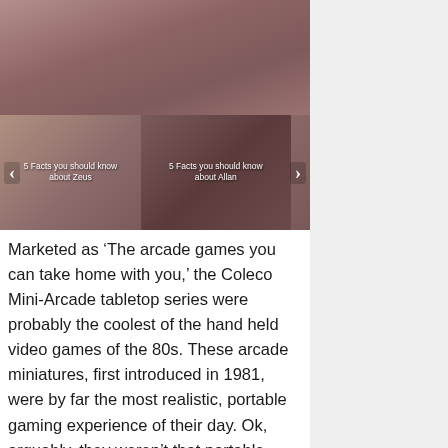[Figure (photo): Large image at top, brownish-red muted tones, appears to show a textured or organic surface]
[Figure (screenshot): Carousel/slideshow with two visible thumbnail images. Left thumbnail labeled '5 Facts you should know about Zeus', right thumbnail labeled '5 Facts you should know about Allan'. Navigation arrows on left and right.]
Marketed as ‘The arcade games you can take home with you,’ the Coleco Mini-Arcade tabletop series were probably the coolest of the hand held video games of the 80s. These arcade miniatures, first introduced in 1981, were by far the most realistic, portable gaming experience of their day. Ok, arguably, they weren’t that portable (hence the name tabletop), but they definitely had